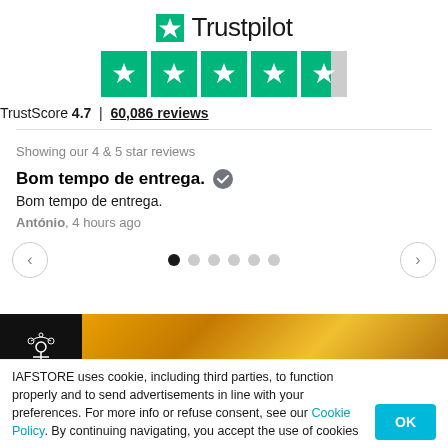[Figure (logo): Trustpilot logo with green star and text]
[Figure (other): 4.7 star rating display with 5 green star boxes, last one half-filled]
TrustScore 4.7 | 60,086 reviews
Showing our 4 & 5 star reviews
Bom tempo de entrega.
Bom tempo de entrega.
António, 4 hours ago
[Figure (other): Carousel navigation with left arrow, 6 dots (first active), right arrow]
[Figure (photo): Ad banner with black logo box on left and golden/yellow textured image on right]
IAFSTORE uses cookie, including third parties, to function properly and to send advertisements in line with your preferences. For more info or refuse consent, see our Cookie Policy. By continuing navigating, you accept the use of cookies